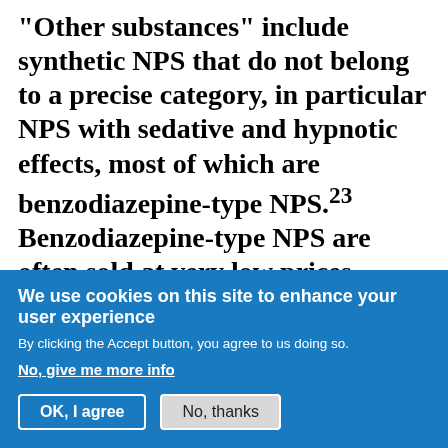"Other substances" include synthetic NPS that do not belong to a precise category, in particular NPS with sedative and hypnotic effects, most of which are benzodiazepine-type NPS.23 Benzodiazepine-type NPS are often sold at very low prices, sometimes in packages mimicking existing medicines, have varying dosages of active ingredients and contain contaminants, including highly potent synthetic opioids.24
We use cookies on this site to enhance your user experience
By clicking the Accept button, you agree to us doing so.
No, give me more info
OK, I agree
No, thanks